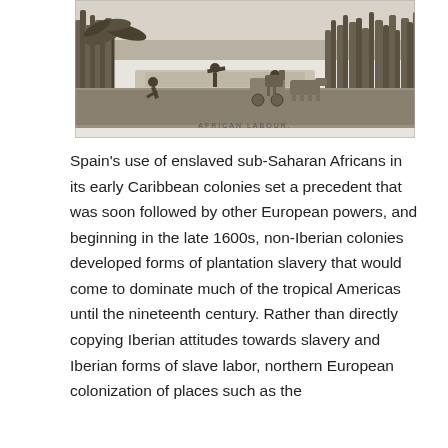[Figure (illustration): A black and white engraving depicting enslaved people working in a tropical landscape. The scene shows figures laboring near water with lush vegetation including tall grasses and palm-like plants. Oxen and a cart are visible in the background. A caption in small text reads 'AFRICAN LABOUR' at the bottom center of the image.]
Spain's use of enslaved sub-Saharan Africans in its early Caribbean colonies set a precedent that was soon followed by other European powers, and beginning in the late 1600s, non-Iberian colonies developed forms of plantation slavery that would come to dominate much of the tropical Americas until the nineteenth century. Rather than directly copying Iberian attitudes towards slavery and Iberian forms of slave labor, northern European colonization of places such as the